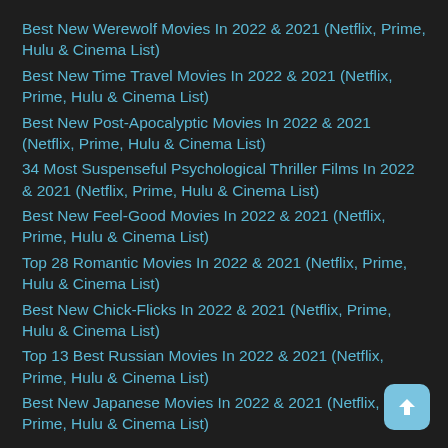Best New Werewolf Movies In 2022 & 2021 (Netflix, Prime, Hulu & Cinema List)
Best New Time Travel Movies In 2022 & 2021 (Netflix, Prime, Hulu & Cinema List)
Best New Post-Apocalyptic Movies In 2022 & 2021 (Netflix, Prime, Hulu & Cinema List)
34 Most Suspenseful Psychological Thriller Films In 2022 & 2021 (Netflix, Prime, Hulu & Cinema List)
Best New Feel-Good Movies In 2022 & 2021 (Netflix, Prime, Hulu & Cinema List)
Top 28 Romantic Movies In 2022 & 2021 (Netflix, Prime, Hulu & Cinema List)
Best New Chick-Flicks In 2022 & 2021 (Netflix, Prime, Hulu & Cinema List)
Top 13 Best Russian Movies In 2022 & 2021 (Netflix, Prime, Hulu & Cinema List)
Best New Japanese Movies In 2022 & 2021 (Netflix, Prime, Hulu & Cinema List)